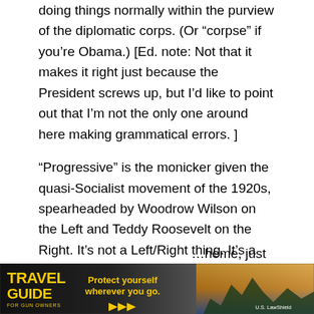doing things normally within the purview of the diplomatic corps. (Or “corpse” if you’re Obama.) [Ed. note: Not that it makes it right just because the President screws up, but I’d like to point out that I’m not the only one around here making grammatical errors. ]
“Progressive” is the monicker given the quasi-Socialist movement of the 1920s, spearheaded by Woodrow Wilson on the Left and Teddy Roosevelt on the Right. It’s not a Left/Right thing. It’s a Socialist versus Vision of the Founders thing. Hillary herself has proudly proclaimed that she is a “Progressive” in the mold of the 1920s movement. The single-payer/government-controlled ObamaCare plan …heme, just …Federal
[Figure (infographic): Travel Guide for Gun Owners advertisement banner. Dark background with golden text reading TRAVEL GUIDE on top and FOR GUN OWNERS below. Center text reads Protect yourself wherever you go. with yellow play/arrow icons. Right side shows U.S. LawShield branding with a partial bright nature/landscape image.]